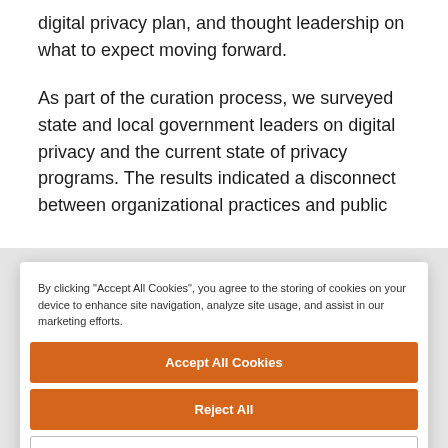digital privacy plan, and thought leadership on what to expect moving forward.
As part of the curation process, we surveyed state and local government leaders on digital privacy and the current state of privacy programs. The results indicated a disconnect between organizational practices and public
By clicking "Accept All Cookies", you agree to the storing of cookies on your device to enhance site navigation, analyze site usage, and assist in our marketing efforts.
Accept All Cookies
Reject All
Cookies Settings